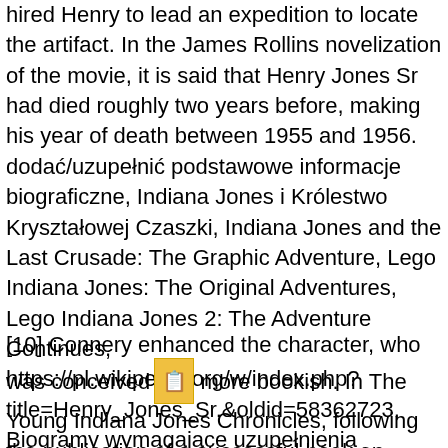hired Henry to lead an expedition to locate the artifact. In the James Rollins novelization of the movie, it is said that Henry Jones Sr had died roughly two years before, making his year of death between 1955 and 1956. dodać/uzupełnić podstawowe informacje biograficzne, Indiana Jones i Królestwo Kryształowej Czaszki, Indiana Jones and the Last Crusade: The Graphic Adventure, Lego Indiana Jones: The Original Adventures, Lego Indiana Jones 2: The Adventure Continues, https://pl.wikipedia.org/w/index.php?title=Henry_Jones_Sr.&oldid=58362723, Biogramy wymagające uzupełnienia podstawowych informacji, licencji Creative Commons: uznanie autorstwa, na tych samych warunkach, Korzystasz z Wikipedii tylko na własną odpowiedzialność. Owen considered the character "a good father.
[10] Connery enhanced the character, who was conceived more bookish. In The Young Indiana Jones Chronicles, following the publication of a successful book on chivalry in 1920, Jones is invited to speak at a number of schools and...